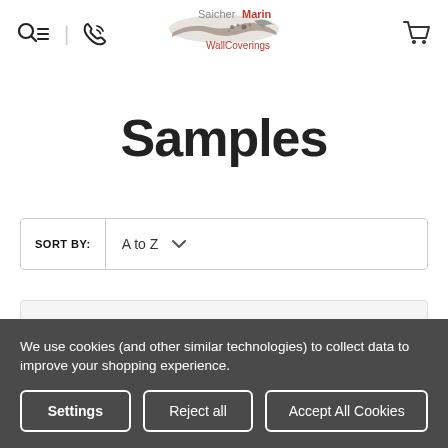[Figure (logo): SaicherMarin WallCoverings logo with decorative brush/feather graphic]
Samples
SORT BY: A to Z
We use cookies (and other similar technologies) to collect data to improve your shopping experience.
Settings | Reject all | Accept All Cookies